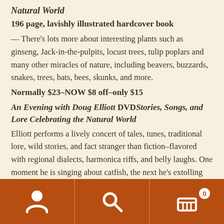Natural World
196 page, lavishly illustrated hardcover book
— There's lots more about interesting plants such as ginseng, Jack-in-the-pulpits, locust trees, tulip poplars and many other miracles of nature, including beavers, buzzards, snakes, trees, bats, bees, skunks, and more.
Normally $23–NOW $8 off–only $15
An Evening with Doug Elliott  DVDStories, Songs, and Lore Celebrating the Natural World
Elliott performs a lively concert of tales, tunes, traditional lore, wild stories, and fact stranger than fiction–flavored with regional dialects, harmonica riffs, and belly laughs. One moment he is singing about catfish, the next he's extolling the virtues of dandelions, or bursting forth with crow calls. He
Navigation bar with account, search, and cart (0) icons